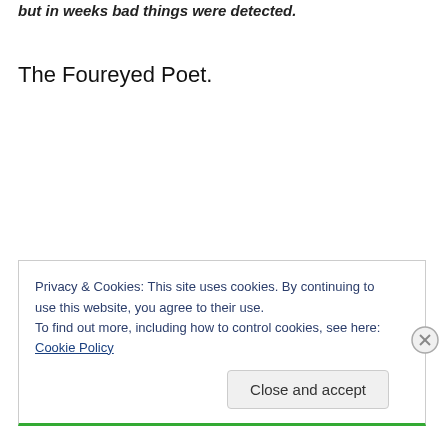but in weeks bad things were detected.
The Foureyed Poet.
Privacy & Cookies: This site uses cookies. By continuing to use this website, you agree to their use.
To find out more, including how to control cookies, see here: Cookie Policy
Close and accept